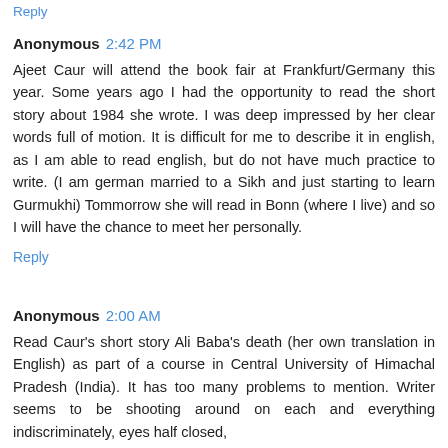Reply
Anonymous 2:42 PM
Ajeet Caur will attend the book fair at Frankfurt/Germany this year. Some years ago I had the opportunity to read the short story about 1984 she wrote. I was deep impressed by her clear words full of motion. It is difficult for me to describe it in english, as I am able to read english, but do not have much practice to write. (I am german married to a Sikh and just starting to learn Gurmukhi) Tommorrow she will read in Bonn (where I live) and so I will have the chance to meet her personally.
Reply
Anonymous 2:00 AM
Read Caur's short story Ali Baba's death (her own translation in English) as part of a course in Central University of Himachal Pradesh (India). It has too many problems to mention. Writer seems to be shooting around on each and everything indiscriminately, eyes half closed,